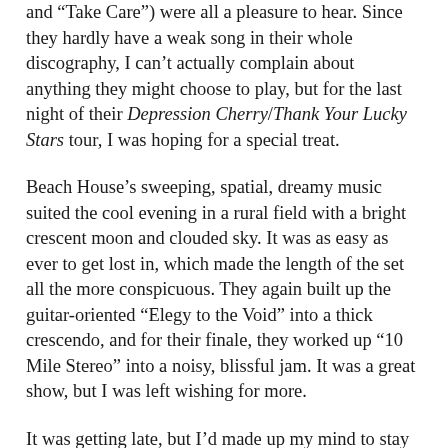and "Take Care") were all a pleasure to hear. Since they hardly have a weak song in their whole discography, I can't actually complain about anything they might choose to play, but for the last night of their Depression Cherry/Thank Your Lucky Stars tour, I was hoping for a special treat.
Beach House's sweeping, spatial, dreamy music suited the cool evening in a rural field with a bright crescent moon and clouded sky. It was as easy as ever to get lost in, which made the length of the set all the more conspicuous. They again built up the guitar-oriented "Elegy to the Void" into a thick crescendo, and for their finale, they worked up "10 Mile Stereo" into a noisy, blissful jam. It was a great show, but I was left wishing for more.
It was getting late, but I'd made up my mind to stay for at least part of Purity Ring's set. Of course, they were a full hour late, so I only stayed for half an hour before I had to get on a shuttle back to Austin. As soon as they got going, I was drawn in by their visual performance. They opted to appear as just their core duo, with Corin Roddick behind an interactive lightpost/synth tower and Megan James walking